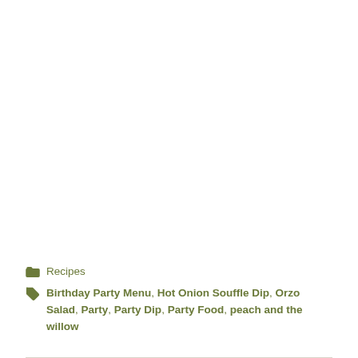Recipes
Birthday Party Menu, Hot Onion Souffle Dip, Orzo Salad, Party, Party Dip, Party Food, peach and the willow